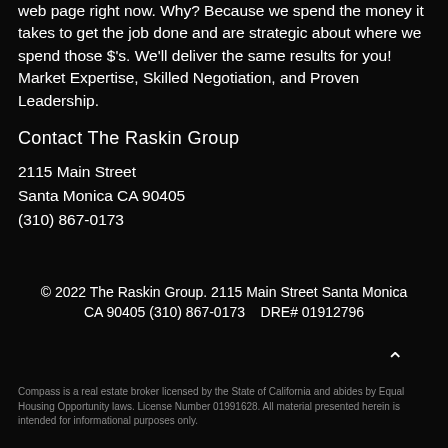web page right now. Why? Because we spend the money it takes to get the job done and are strategic about where we spend those $'s. We'll deliver the same results for you! Market Expertise, Skilled Negotiation, and Proven Leadership.
Contact The Raskin Group
2115 Main Street
Santa Monica CA 90405
(310) 867-0173
© 2022 The Raskin Group. 2115 Main Street Santa Monica CA 90405 (310) 867-0173    DRE# 01912796
Compass is a real estate broker licensed by the State of California and abides by Equal Housing Opportunity laws. License Number 01991628. All material presented herein is intended for informational purposes only.